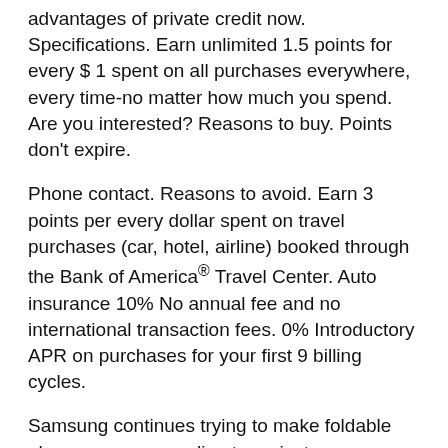advantages of private credit now. Specifications. Earn unlimited 1.5 points for every $ 1 spent on all purchases everywhere, every time-no matter how much you spend. Are you interested? Reasons to buy. Points don't expire.
Phone contact. Reasons to avoid. Earn 3 points per every dollar spent on travel purchases (car, hotel, airline) booked through the Bank of America® Travel Center. Auto insurance 10% No annual fee and no international transaction fees. 0% Introductory APR on purchases for your first 9 billing cycles.
Samsung continues trying to make foldable phones more appealing to mainstream shoppers, and the Galaxy Z Fold 3 is a big step forward in that regard. Receive now a non-binding offer'AXA by e-mail and bénotétrust'a one-time 10% discount. gt; Info. While the $ 1,799 price is still a lot to pay for a phone, it's $ 200 lower than the Galaxy Z Fold 2's debut cost. Redeem points for a statement credit to